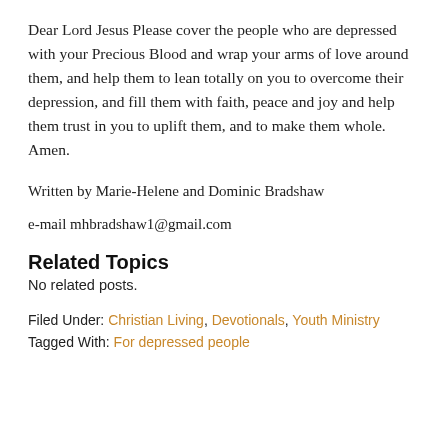Dear Lord Jesus Please cover the people who are depressed with your Precious Blood and wrap your arms of love around them, and help them to lean totally on you to overcome their depression, and fill them with faith, peace and joy and help them trust in you to uplift them, and to make them whole. Amen.
Written by Marie-Helene and Dominic Bradshaw
e-mail mhbradshaw1@gmail.com
Related Topics
No related posts.
Filed Under: Christian Living, Devotionals, Youth Ministry
Tagged With: For depressed people